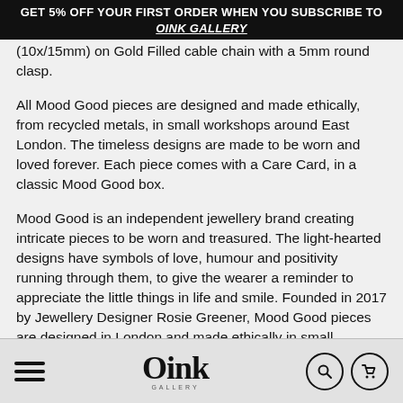GET 5% OFF YOUR FIRST ORDER WHEN YOU SUBSCRIBE TO OINK GALLERY
(10x/15mm) on Gold Filled cable chain with a 5mm round clasp.
All Mood Good pieces are designed and made ethically, from recycled metals, in small workshops around East London. The timeless designs are made to be worn and loved forever. Each piece comes with a Care Card, in a classic Mood Good box.
Mood Good is an independent jewellery brand creating intricate pieces to be worn and treasured. The light-hearted designs have symbols of love, humour and positivity running through them, to give the wearer a reminder to appreciate the little things in life and smile. Founded in 2017 by Jewellery Designer Rosie Greener, Mood Good pieces are designed in London and made ethically in small workshops
Oink Gallery — navigation bar with hamburger menu, Oink logo, search and cart icons